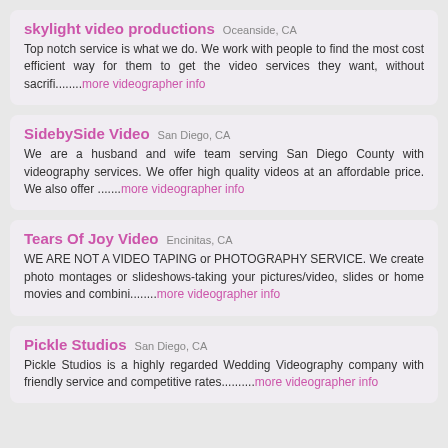skylight video productions  Oceanside, CA
Top notch service is what we do. We work with people to find the most cost efficient way for them to get the video services they want, without sacrifi........more videographer info
SidebySide Video  San Diego, CA
We are a husband and wife team serving San Diego County with videography services. We offer high quality videos at an affordable price. We also offer .......more videographer info
Tears Of Joy Video  Encinitas, CA
WE ARE NOT A VIDEO TAPING or PHOTOGRAPHY SERVICE. We create photo montages or slideshows-taking your pictures/video, slides or home movies and combini........more videographer info
Pickle Studios  San Diego, CA
Pickle Studios is a highly regarded Wedding Videography company with friendly service and competitive rates..........more videographer info